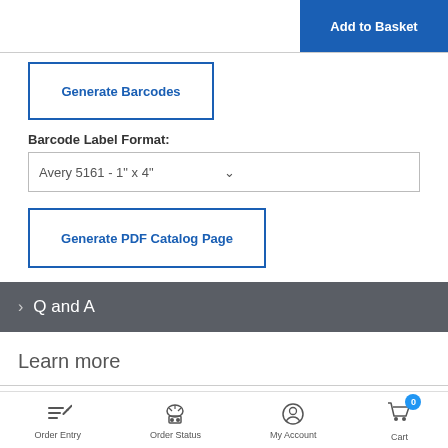Add to Basket
Generate Barcodes
Barcode Label Format:
Avery 5161 - 1" x 4"
Generate PDF Catalog Page
> Q and A
Learn more
Order Entry | Order Status | My Account | Cart 0